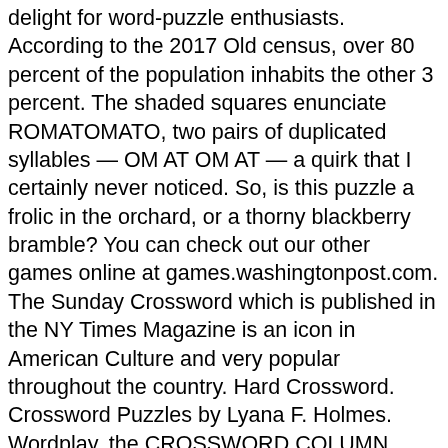delight for word-puzzle enthusiasts. According to the 2017 Old census, over 80 percent of the population inhabits the other 3 percent. The shaded squares enunciate ROMATOMATO, two pairs of duplicated syllables — OM AT OM AT — a quirk that I certainly never noticed. So, is this puzzle a frolic in the orchard, or a thorny blackberry bramble? You can check out our other games online at games.washingtonpost.com. The Sunday Crossword which is published in the NY Times Magazine is an icon in American Culture and very popular throughout the country. Hard Crossword. Crossword Puzzles by Lyana F. Holmes. Wordplay, the CROSSWORD COLUMN. NEW YORK DAILY NEWS | Apr 27, 1997 at 12:00 AM . Subscribe for free to get the latest breaking news and analysis sent to your inbox. Play it and other NY Daily News games! Games home Daily Crossword. ALGA is the latest and greatest, if you want to grow your own fuel. Daily Puzzle Challenge "The most addictive puzzle since Sudoku" Will Shortz, New York Times Crossword Puzzle Editor. Central Park's Hans Christian Andersen statue ... Jumble America's No. This daily crossword puzzle boosts word power and increases mental ability. Hard Times Crossword Puzzle Clue - all possible answers ...